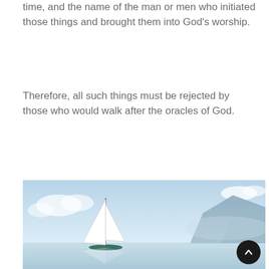time, and the name of the man or men who initiated those things and brought them into God's worship.
Therefore, all such things must be rejected by those who would walk after the oracles of God.
[Figure (photo): A white sailboat on a calm, glassy lake or sea with mountains in the background and a light blue sky with wispy clouds.]